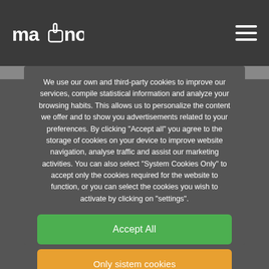mano logo + hamburger menu
We use our own and third-party cookies to improve our services, compile statistical information and analyze your browsing habits. This allows us to personalize the content we offer and to show you advertisements related to your preferences. By clicking "Accept all" you agree to the storage of cookies on your device to improve website navigation, analyse traffic and assist our marketing activities. You can also select "System Cookies Only" to accept only the cookies required for the website to function, or you can select the cookies you wish to activate by clicking on "settings".
Accept All
Only sistem cookies
Configuration